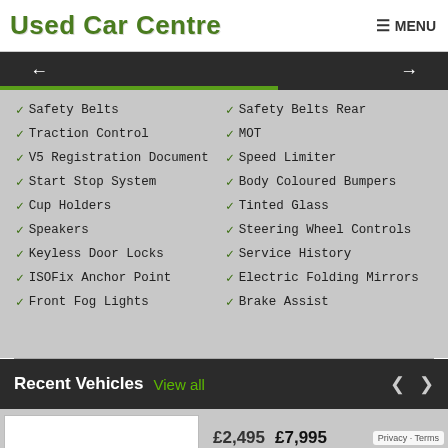Used Car Centre  MENU
Safety Belts
Safety Belts Rear
Traction Control
MOT
V5 Registration Document
Speed Limiter
Start Stop System
Body Coloured Bumpers
Cup Holders
Tinted Glass
Speakers
Steering Wheel Controls
Keyless Door Locks
Service History
ISOFix Anchor Point
Electric Folding Mirrors
Front Fog Lights
Brake Assist
Recent Vehicles  View all
£2,495  £7,995